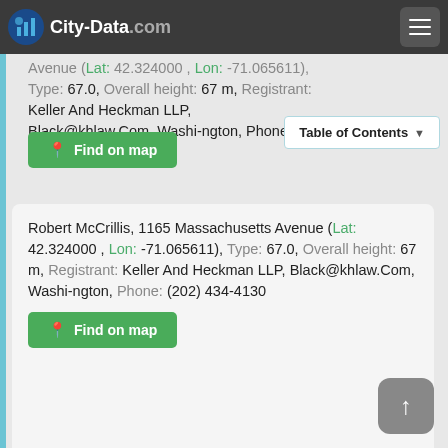City-Data.com
Table of Contents
Avenue (Lat: ... Lon: ...), Type: 67.0, Overall height: 67 m, Registrant: Keller And Heckman LLP, Black@khlaw.Com, Washi-ngton, Phone: (202) 434-4130
Robert McCrillis, 1165 Massachusetts Avenue (Lat: 42.324000 , Lon: -71.065611), Type: 67.0, Overall height: 67 m, Registrant: Keller And Heckman LLP, Black@khlaw.Com, Washi-ngton, Phone: (202) 434-4130
Robert McCrillis, 1165 Massachusetts